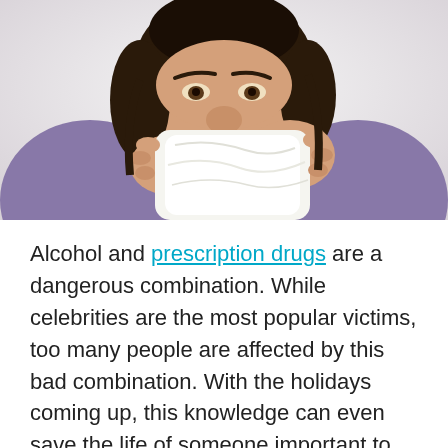[Figure (photo): A woman with dark hair wearing a purple top, blowing her nose into a white tissue, shown from chest up against a white background.]
Alcohol and prescription drugs are a dangerous combination. While celebrities are the most popular victims, too many people are affected by this bad combination. With the holidays coming up, this knowledge can even save the life of someone important to you.
Both prescription and non-prescription drugs do